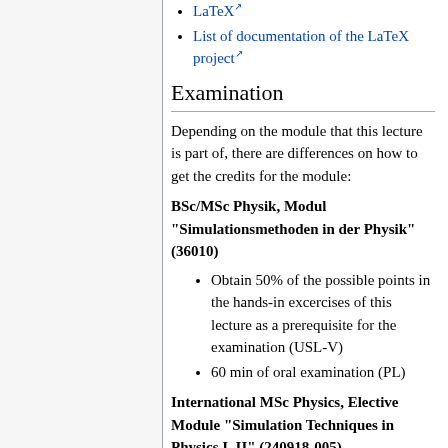LaTeX
List of documentation of the LaTeX project
Examination
Depending on the module that this lecture is part of, there are differences on how to get the credits for the module:
BSc/MSc Physik, Modul "Simulationsmethoden in der Physik" (36010)
Obtain 50% of the possible points in the hands-in excercises of this lecture as a prerequisite for the examination (USL-V)
60 min of oral examination (PL)
International MSc Physics, Elective Module "Simulation Techniques in Physics I, II" (240918-005)